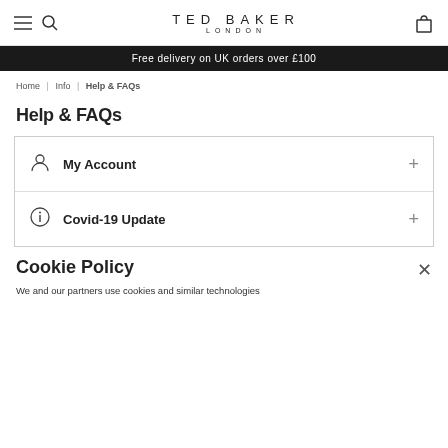TED BAKER LONDON
Free delivery on UK orders over £100
Home | Info | Help & FAQs
Help & FAQs
My Account
Covid-19 Update
Cookie Policy
We and our partners use cookies and similar technologies